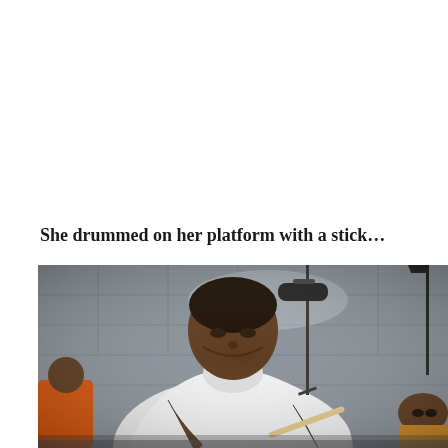She drummed on her platform with a stick…
[Figure (photo): A woman dressed in white robes, eyes downcast, drumming on a platform with a stick. Microphones on stands are visible in the background. Other people in orange clothing are partially visible at the edges.]